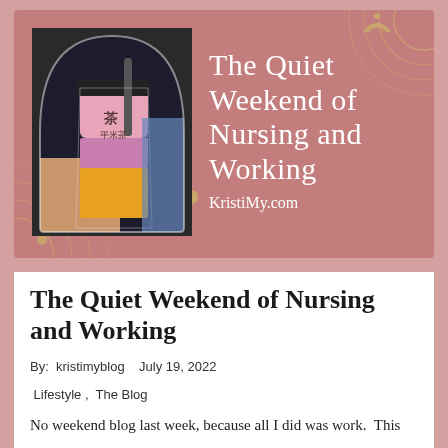[Figure (photo): Blog post banner image with a pink/mauve background. Left side shows a photo of a hand holding a bubble tea drink in an arch frame. Right side shows white serif text 'The Quiet Weekend of Nursing and Working' and 'KristiMy.com'. Decorative concentric circle/arc motifs in gold/tan appear in corners. A small arch/rainbow icon and dot appear at top center-right.]
The Quiet Weekend of Nursing and Working
By:  kristimyblog    July 19, 2022
Lifestyle ,  The Blog
No weekend blog last week, because all I did was work.  This